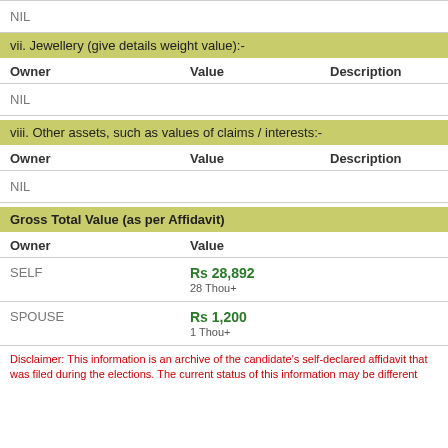NIL
vii. Jewellery (give details weight value):-
| Owner | Value | Description |
| --- | --- | --- |
| NIL |  |  |
viii. Other assets, such as values of claims / interests:-
| Owner | Value | Description |
| --- | --- | --- |
| NIL |  |  |
Gross Total Value (as per Affidavit)
| Owner | Value |
| --- | --- |
| SELF | Rs 28,892
28 Thou+ |
| SPOUSE | Rs 1,200
1 Thou+ |
Disclaimer: This information is an archive of the candidate's self-declared affidavit that was filed during the elections. The current status of this information may be different